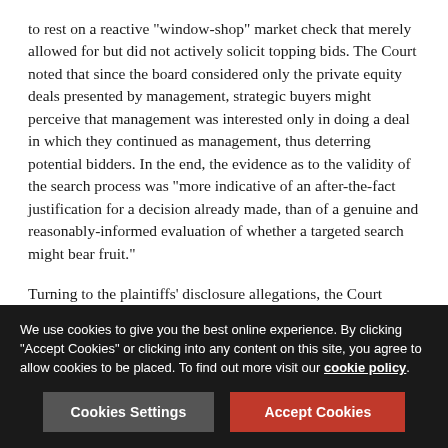to rest on a reactive "window-shop" market check that merely allowed for but did not actively solicit topping bids. The Court noted that since the board considered only the private equity deals presented by management, strategic buyers might perceive that management was interested only in doing a deal in which they continued as management, thus deterring potential bidders. In the end, the evidence as to the validity of the search process was "more indicative of an after-the-fact justification for a decision already made, than of a genuine and reasonably-informed evaluation of whether a targeted search might bear fruit."
Turning to the plaintiffs' disclosure allegations, the Court found a likelihood of success on one of the three claims pled. The proxy materials circulated to stockholders in advance of the stockholder vote on the proposed sale disclosed various
We use cookies to give you the best online experience. By clicking "Accept Cookies" or clicking into any content on this site, you agree to allow cookies to be placed. To find out more visit our cookie policy.